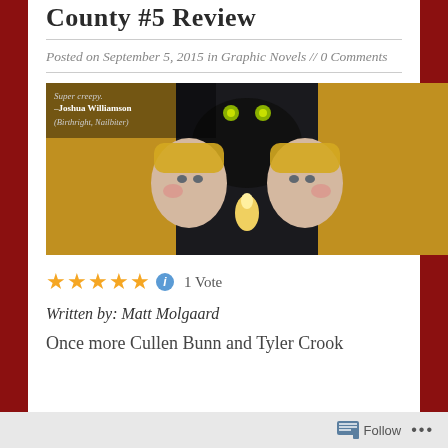County #5 Review
Posted on September 5, 2015 in Graphic Novels // 0 Comments
[Figure (illustration): Comic book cover showing two blonde girls facing each other with a dark creature behind them, with text 'Super Creepy. -Joshua Williamson (Birthright, Nailbiter)']
★★★★★ ⓘ 1 Vote
Written by: Matt Molgaard
Once more Cullen Bunn and Tyler Crook